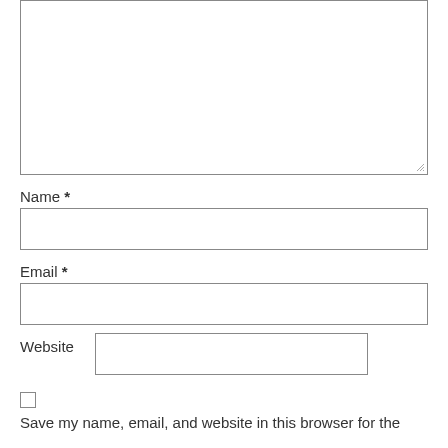[Figure (other): Large textarea input field with resize handle at bottom-right corner]
Name *
[Figure (other): Single-line text input field for Name]
Email *
[Figure (other): Single-line text input field for Email]
Website
[Figure (other): Single-line text input field for Website]
[Figure (other): Checkbox (unchecked)]
Save my name, email, and website in this browser for the